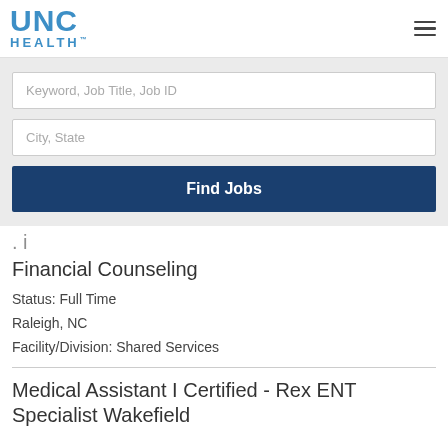[Figure (logo): UNC Health logo in blue]
Keyword, Job Title, Job ID
City, State
Find Jobs
Financial Counseling
Status: Full Time
Raleigh, NC
Facility/Division: Shared Services
Medical Assistant I Certified - Rex ENT Specialist Wakefield